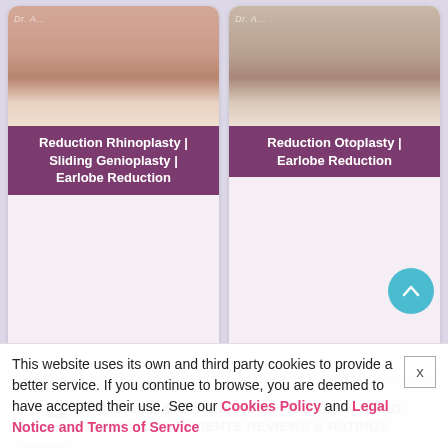[Figure (photo): Medical before/after photo card for Reduction Rhinoplasty, Sliding Genioplasty, and Earlobe Reduction procedure]
Reduction Rhinoplasty | Sliding Genioplasty | Earlobe Reduction
[Figure (photo): Medical before/after photo card for Reduction Otoplasty and Earlobe Reduction procedure]
Reduction Otoplasty | Earlobe Reduction
💬 SEARCH FOR DR. ALEJANDRO NOGUEIRA'S AND LOWCOSTMETIC PATIENTS REVIEWS & RATINGS
Search for Topic, Area or Treatment
Loading....
🖼 DR. ALEJANDRO NOGUEIRA'S EARLOBE REDUCTION
This website uses its own and third party cookies to provide a better service. If you continue to browse, you are deemed to have accepted their use. See our Cookies Policy and Legal Notice and Terms of Service